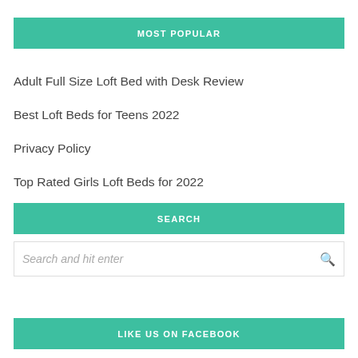MOST POPULAR
Adult Full Size Loft Bed with Desk Review
Best Loft Beds for Teens 2022
Privacy Policy
Top Rated Girls Loft Beds for 2022
SEARCH
Search and hit enter
LIKE US ON FACEBOOK